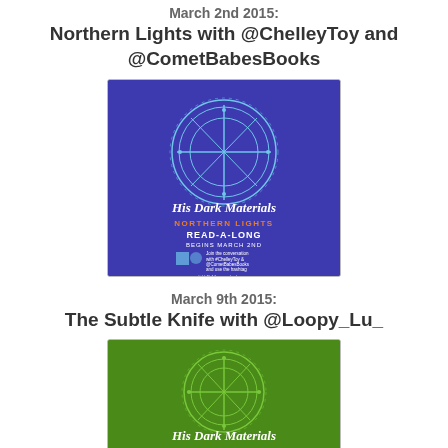March 2nd 2015:
Northern Lights with @ChelleyToy and @CometBabesBooks
[Figure (illustration): His Dark Materials - Northern Lights READ-A-LONG begins March 2nd promotional image on blue/purple background with compass rose design]
March 9th 2015:
The Subtle Knife with @Loopy_Lu_
[Figure (illustration): His Dark Materials - The Subtle Knife READ-A-LONG begins March 9th promotional image on green background with compass rose design]